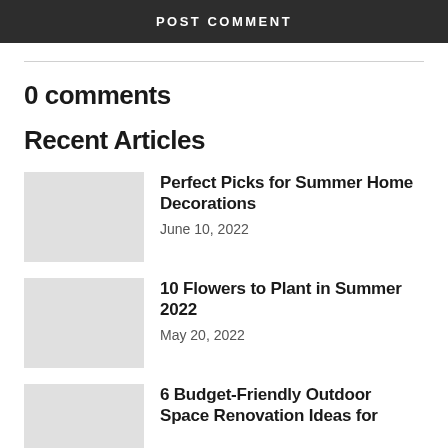POST COMMENT
0 comments
Recent Articles
Perfect Picks for Summer Home Decorations
June 10, 2022
10 Flowers to Plant in Summer 2022
May 20, 2022
6 Budget-Friendly Outdoor Space Renovation Ideas for